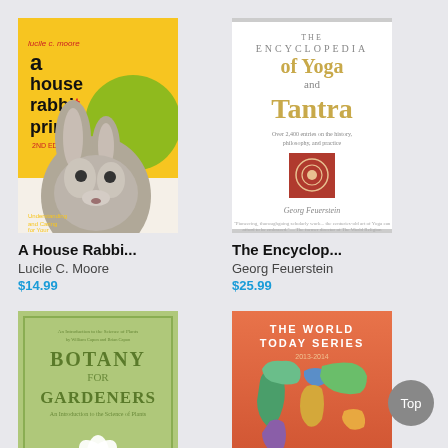[Figure (illustration): Book cover: A House Rabbit Primer by Lucile C. Moore, 2nd edition, showing a grey rabbit on yellow/green background]
A House Rabbi...
Lucile C. Moore
$14.99
[Figure (illustration): Book cover: The Encyclopedia of Yoga and Tantra by Georg Feuerstein, white cover with decorative text]
The Encyclop...
Georg Feuerstein
$25.99
[Figure (illustration): Book cover: Botany for Gardeners, green cover with white flower illustration]
[Figure (illustration): Book cover: The World Today Series - Western Europe, colorful world map on orange/red background]